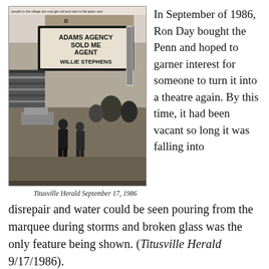[Figure (photo): Black and white newspaper photograph showing two people standing in front of a movie theatre marquee reading 'ADAMS AGENCY SOLD ME AGENT WILLIE STEPHENS'. A small caption at top of photo reads: 'people in the village are now get old and start to fall apart; and']
Titusville Herald September 17, 1986
In September of 1986, Ron Day bought the Penn and hoped to garner interest for someone to turn it into a theatre again. By this time, it had been vacant so long it was falling into disrepair and water could be seen pouring from the marquee during storms and broken glass was the only feature being shown. (Titusville Herald 9/17/1986).